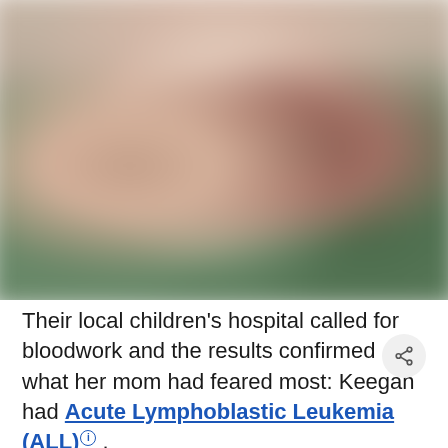[Figure (photo): Blurred/out-of-focus photo showing two children, with soft warm skin tones and a greenish background, heavily blurred for privacy.]
Their local children's hospital called for bloodwork and the results confirmed what her mom had feared most: Keegan had Acute Lymphoblastic Leukemia (ALL) ⓘ .